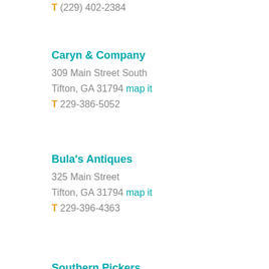T (229) 402-2384
Caryn & Company
309 Main Street South
Tifton, GA 31794 map it
T 229-386-5052
Bula's Antiques
325 Main Street
Tifton, GA 31794 map it
T 229-396-4363
Southern Pickers